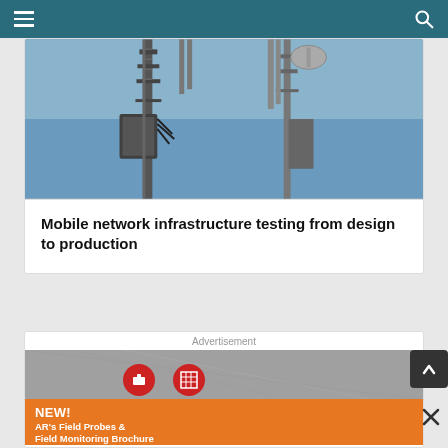Mobile network infrastructure testing
[Figure (photo): Two cell tower structures with antennas and equipment mounted on them, photographed from below against a blue sky]
Mobile network infrastructure testing from design to production
Advertisement
[Figure (screenshot): Advertisement for AR's Field Probes & Field Monitoring Brochure with orange banner. Text reads NEW! AR's Field Probes & Field Monitoring Brochure. Download a Digital Copy Today!]